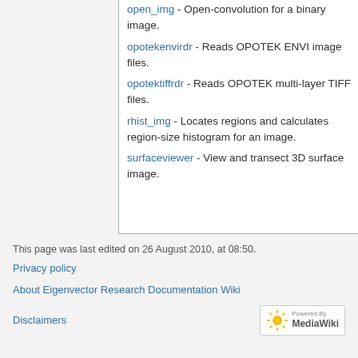open_img - Open-convolution for a binary image.
opotekenvirdr - Reads OPOTEK ENVI image files.
opotektiffrdr - Reads OPOTEK multi-layer TIFF files.
rhist_img - Locates regions and calculates region-size histogram for an image.
surfaceviewer - View and transect 3D surface image.
This page was last edited on 26 August 2010, at 08:50.
Privacy policy
About Eigenvector Research Documentation Wiki
Disclaimers